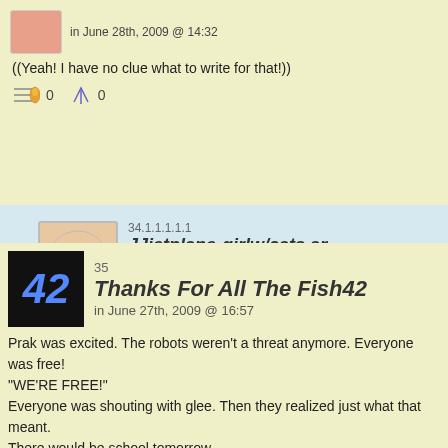in June 28th, 2009 @ 14:32
((Yeah! I have no clue what to write for that!))
0   0
34.1.1.1.1.1
JJjetplane-girlw/cats and P
in June 29th, 2009 @ 15:13
((Hello?!?!?!))
0   0
35
Thanks For All The Fish42
in June 27th, 2009 @ 16:57
Prak was excited. The robots weren't a threat anymore. Everyone was free! "WE'RE FREE!" Everyone was shouting with glee. Then they realized just what that meant. There would be school tomorrow. ((OKAY! Now that that's over, let's try and be regular students that go to a boardi ((Aahh, the irony))
0   0